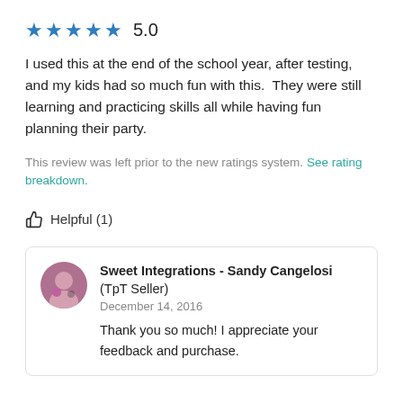[Figure (other): Five blue stars rating with score 5.0]
I used this at the end of the school year, after testing, and my kids had so much fun with this.  They were still learning and practicing skills all while having fun planning their party.
This review was left prior to the new ratings system. See rating breakdown.
Helpful (1)
Sweet Integrations - Sandy Cangelosi (TpT Seller)
December 14, 2016
Thank you so much! I appreciate your feedback and purchase.